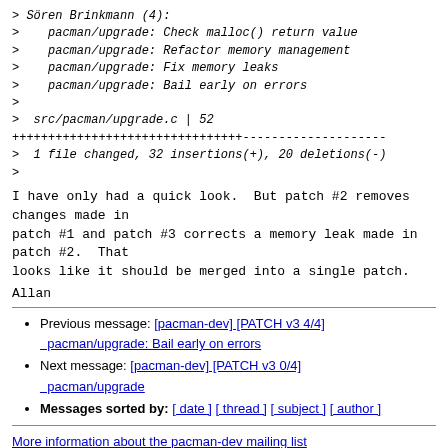> Sören Brinkmann (4):
>    pacman/upgrade: Check malloc() return value
>    pacman/upgrade: Refactor memory management
>    pacman/upgrade: Fix memory leaks
>    pacman/upgrade: Bail early on errors
>
>  src/pacman/upgrade.c | 52
> ++++++++++++++++++++++++++++++++--------------------
>  1 file changed, 32 insertions(+), 20 deletions(-)
>
I have only had a quick look.  But patch #2 removes changes made in
patch #1 and patch #3 corrects a memory leak made in patch #2.  That
looks like it should be merged into a single patch.
Allan
Previous message: [pacman-dev] [PATCH v3 4/4] pacman/upgrade: Bail early on errors
Next message: [pacman-dev] [PATCH v3 0/4] pacman/upgrade
Messages sorted by: [ date ] [ thread ] [ subject ] [ author ]
More information about the pacman-dev mailing list